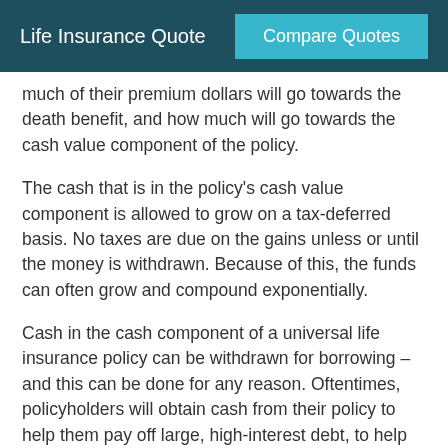Life Insurance Quote | Compare Quotes
much of their premium dollars will go towards the death benefit, and how much will go towards the cash value component of the policy.
The cash that is in the policy's cash value component is allowed to grow on a tax-deferred basis. No taxes are due on the gains unless or until the money is withdrawn. Because of this, the funds can often grow and compound exponentially.
Cash in the cash component of a universal life insurance policy can be withdrawn for borrowing – and this can be done for any reason. Oftentimes, policyholders will obtain cash from their policy to help them pay off large, high-interest debt, to help supplement their retirement income, or even to take